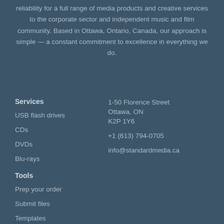reliability for a full range of media products and creative services to the corporate sector and independent music and film community. Based in Ottawa, Ontario, Canada, our approach is simple — a constant commitment to excellence in everything we do.
Services
USB flash drives
CDs
DVDs
Blu-rays
Tools
Prep your order
Submit files
Templates
1-50 Florence Street
Ottawa, ON
K2P 1Y6
+1 (613) 794-0705
info@standardmedia.ca